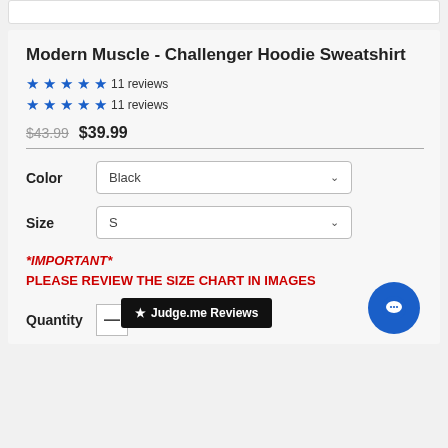Modern Muscle - Challenger Hoodie Sweatshirt
★★★★★ 11 reviews
★★★★★ 11 reviews
$43.99  $39.99
Color  Black
Size  S
*IMPORTANT* PLEASE REVIEW THE SIZE CHART IN IMAGES
★ Judge.me Reviews
Quantity  —